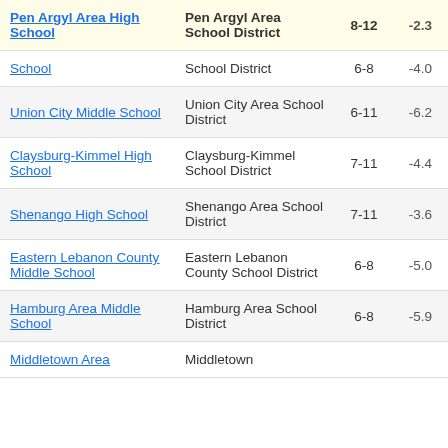| School | District | Grades | Score |
| --- | --- | --- | --- |
| Pen Argyl Area High School | Pen Argyl Area School District | 8-12 | -2.3 |
| School | School District | 6-8 | -4.0 |
| Union City Middle School | Union City Area School District | 6-11 | -6.2 |
| Claysburg-Kimmel High School | Claysburg-Kimmel School District | 7-11 | -4.4 |
| Shenango High School | Shenango Area School District | 7-11 | -3.6 |
| Eastern Lebanon County Middle School | Eastern Lebanon County School District | 6-8 | -5.0 |
| Hamburg Area Middle School | Hamburg Area School District | 6-8 | -5.9 |
| Middletown Area | Middletown |  |  |